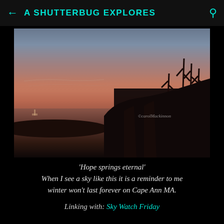A SHUTTERBUG EXPLORES
[Figure (photo): Sunset or sunrise landscape photo showing a colorful sky with pink and orange hues over a body of water, with bare winter tree silhouettes in the foreground on Cape Ann MA. Watermark reads ©carolMackinnon.]
'Hope springs eternal' When I see a sky like this it is a reminder to me winter won't last forever on Cape Ann MA.
Linking with: Sky Watch Friday